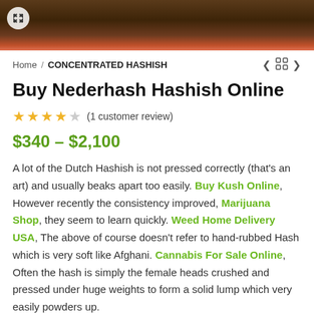[Figure (photo): Close-up photo of hashish/cannabis product with dark brown texture, partially visible reddish background]
Home / CONCENTRATED HASHISH
Buy Nederhash Hashish Online
★★★★☆ (1 customer review)
$340 – $2,100
A lot of the Dutch Hashish is not pressed correctly (that's an art) and usually beaks apart too easily. Buy Kush Online, However recently the consistency improved, Marijuana Shop, they seem to learn quickly. Weed Home Delivery USA, The above of course doesn't refer to hand-rubbed Hash which is very soft like Afghani. Cannabis For Sale Online, Often the hash is simply the female heads crushed and pressed under huge weights to form a solid lump which very easily powders up.